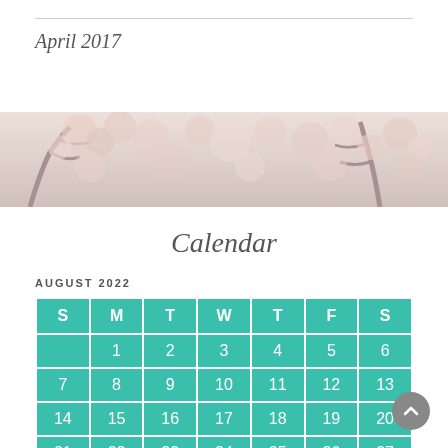April 2017
[Figure (photo): Cherry blossom tree banner photo with pale pink flowers and branches against a light sky]
Calendar
AUGUST 2022
| S | M | T | W | T | F | S |
| --- | --- | --- | --- | --- | --- | --- |
|  | 1 | 2 | 3 | 4 | 5 | 6 |
| 7 | 8 | 9 | 10 | 11 | 12 | 13 |
| 14 | 15 | 16 | 17 | 18 | 19 | 20 |
| 21 | 22 | 23 | 24 | 25 | 26 | 27 |